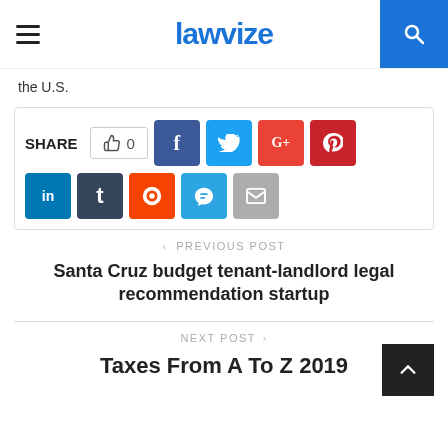lawvize
the U.S.
[Figure (other): Social share bar with like count (0), Facebook, Twitter, Google+, Pinterest, LinkedIn, Tumblr, Reddit, Telegram, Email buttons]
< PREVIOUS POST
Santa Cruz budget tenant-landlord legal recommendation startup
NEXT POST >
Taxes From A To Z 2019